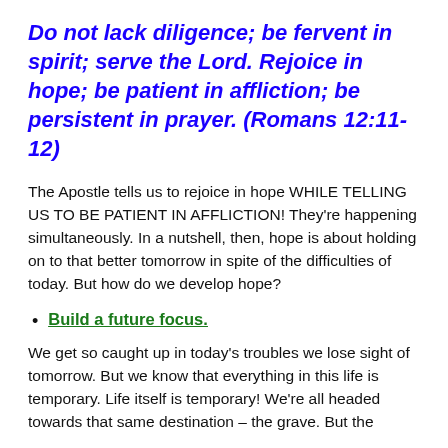Do not lack diligence; be fervent in spirit; serve the Lord. Rejoice in hope; be patient in affliction; be persistent in prayer. (Romans 12:11-12)
The Apostle tells us to rejoice in hope WHILE TELLING US TO BE PATIENT IN AFFLICTION! They're happening simultaneously. In a nutshell, then, hope is about holding on to that better tomorrow in spite of the difficulties of today. But how do we develop hope?
Build a future focus.
We get so caught up in today's troubles we lose sight of tomorrow. But we know that everything in this life is temporary. Life itself is temporary! We're all headed towards that same destination – the grave. But the Christ has shown us the way of escape, how the...